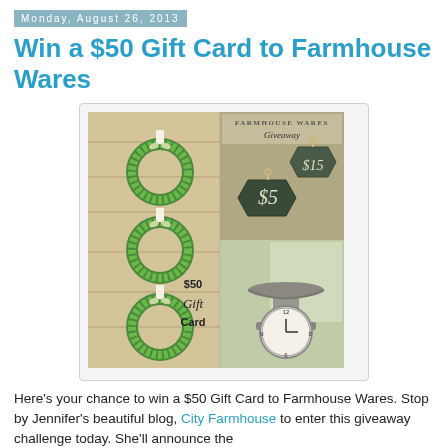Monday, August 26, 2013
Win a $50 Gift Card to Farmhouse Wares
[Figure (photo): Farmhouse Wares Giveaway promotional collage image showing green moss wreaths on a wood panel door, price tags showing $5 and $15, and a vintage scale with clock, with text overlay: $50 Gift Card]
Here's your chance to win a $50 Gift Card to Farmhouse Wares. Stop by Jennifer's beautiful blog, City Farmhouse to enter this giveaway challenge today. She'll announce the winner...